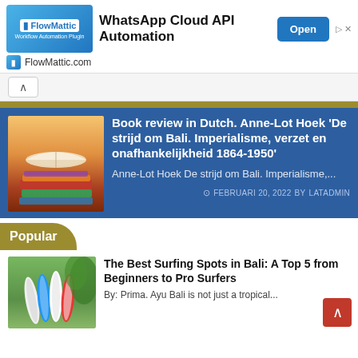[Figure (screenshot): FlowMattic advertisement banner for WhatsApp Cloud API Automation with logo, headline, and Open button]
[Figure (screenshot): Book review article card on blue background: 'Book review in Dutch. Anne-Lot Hoek De strijd om Bali. Imperialisme, verzet en onafhankelijkheid 1864-1950' dated FEBRUARI 20, 2022 BY LATADMIN]
Popular
[Figure (screenshot): Popular article card: 'The Best Surfing Spots in Bali: A Top 5 from Beginners to Pro Surfers' with surfboard image]